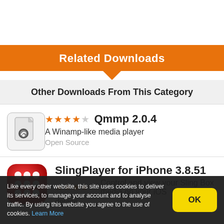Related Downloads
Other Downloads From This Category
[Figure (screenshot): Qmmp 2.0.4 app icon — document/file icon with a small penguin symbol on grey background]
★★★★☆ Qmmp 2.0.4
A Winamp-like media player
Open Source
[Figure (screenshot): SlingPlayer for iPhone app icon — red rounded square with white dots pattern]
SlingPlayer for iPhone 3.8.51
★★★★☆ Control and view your Sling Box media on your iOS device
Like every other website, this site uses cookies to deliver its services, to manage your account and to analyse traffic. By using this website you agree to the use of cookies. Learn More